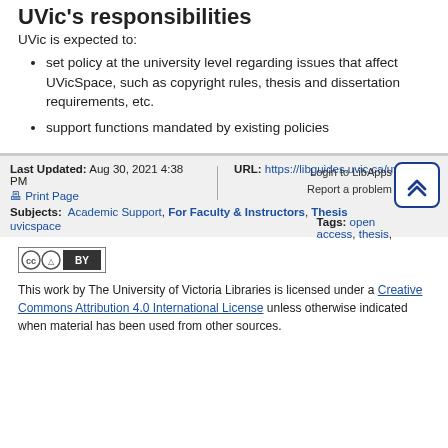UVic's responsibilities
UVic is expected to:
set policy at the university level regarding issues that affect UVicSpace, such as copyright rules, thesis and dissertation requirements, etc.
support functions mandated by existing policies
Last Updated: Aug 30, 2021 4:38 PM | URL: https://libguides.uvic.ca/uvicspace | Print Page | Login to LibApps | Report a problem | Subjects: Academic Support, For Faculty & Instructors, Thesis, uvicspace | Tags: open access, thesis,
[Figure (logo): Creative Commons BY license badge]
This work by The University of Victoria Libraries is licensed under a Creative Commons Attribution 4.0 International License unless otherwise indicated when material has been used from other sources.